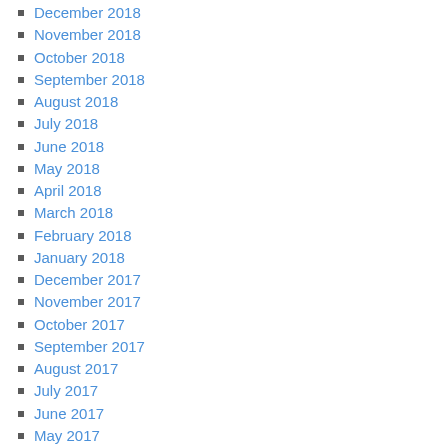December 2018
November 2018
October 2018
September 2018
August 2018
July 2018
June 2018
May 2018
April 2018
March 2018
February 2018
January 2018
December 2017
November 2017
October 2017
September 2017
August 2017
July 2017
June 2017
May 2017
April 2017
March 2017
February 2017
January 2017
December 2016